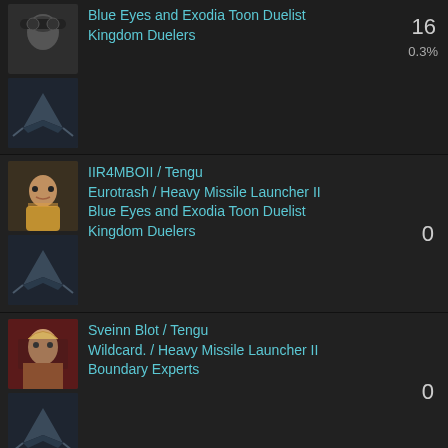Blue Eyes and Exodia Toon Duelist / Kingdom Duelers
16
0.3%
IIR4MBOII / Tengu
Eurotrash / Heavy Missile Launcher II
Blue Eyes and Exodia Toon Duelist / Kingdom Duelers
0
Sveinn Blot / Tengu
Wildcard. / Heavy Missile Launcher II
Boundary Experts
0
Involved Alliances / Corporations ↕